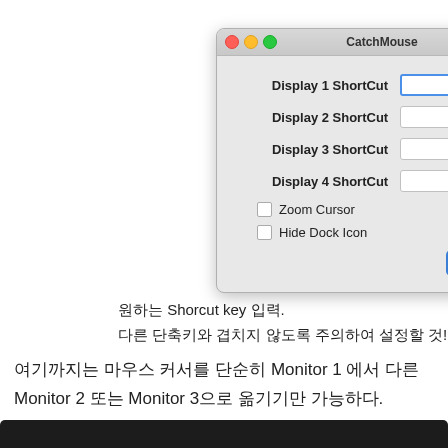[Figure (screenshot): macOS CatchMouse dialog window with traffic light buttons, four shortcut input fields (Display 1-4 ShortCut), Zoom Cursor and Hide Dock Icon checkboxes, and an OK button]
원하는 Shorcut key 입력.
다른 단축키와 겹치지 않도록 주의하여 설정할 것!
여기까지는 마우스 커서를 단순히 Monitor 1 에서 다른 Monitor 2 또는 Monitor 3으로 옮기기만 가능하다. 포커스를 바꾸기 위해서는 그 다음 세팅을 해주어야 한다.
[Figure (screenshot): Bottom dark bar, partial screenshot of next section]